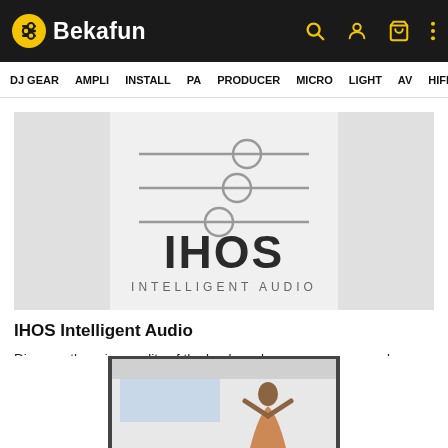Bekafun — navigation header with logo and icons
DJ GEAR  AMPLI  INSTALL  PA  PRODUCER  MICRO  LIGHT  AV  HIFI  CONNE
[Figure (logo): IHOS Intelligent Audio logo: three horizontal sliders with circles, bold IHOS text, and 'INTELLIGENT AUDIO' subtitle, on a light grey background with darker grey panels on sides]
IHOS Intelligent Audio
Discover the price quality of the loudspeakers, processors, and amplifiers from IHOS Intelligent Audio! We have them in stock and in demo!
[Figure (photo): Partial photo showing a person in a bright modern interior space, cropped at bottom of page]